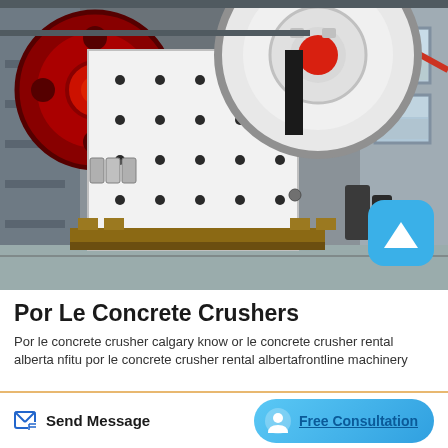[Figure (photo): Industrial jaw crusher machine in a factory/warehouse setting. Large white machine body with red and white flywheels, mounted on wooden pallets. Industrial building interior with steel structure visible in background.]
Por Le Concrete Crushers
Por le concrete crusher calgary know or le concrete crusher rental alberta nfitu por le concrete crusher rental albertafrontline machinery